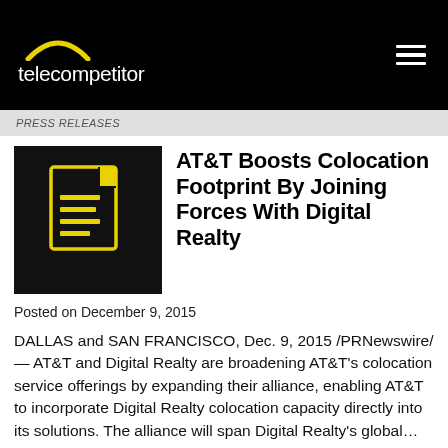telecompetitor
[Figure (logo): Telecompetitor logo with yellow arc above text on black background]
[Figure (illustration): Yellow document/file icon on black background]
AT&T Boosts Colocation Footprint By Joining Forces With Digital Realty
Posted on December 9, 2015
DALLAS and SAN FRANCISCO, Dec. 9, 2015 /PRNewswire/ — AT&T and Digital Realty are broadening AT&T's colocation service offerings by expanding their alliance, enabling AT&T to incorporate Digital Realty colocation capacity directly into its solutions. The alliance will span Digital Realty's global…